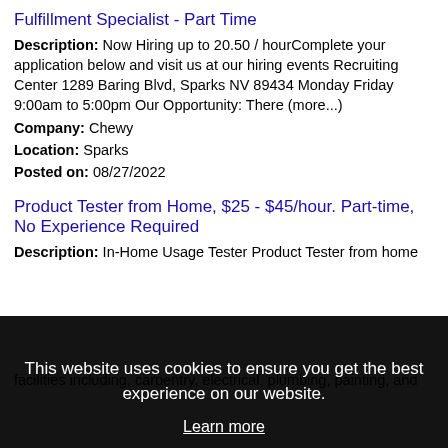Fulfillment Specialist - Part Time
Description: Now Hiring up to 20.50 / hourComplete your application below and visit us at our hiring events Recruiting Center 1289 Baring Blvd, Sparks NV 89434 Monday Friday 9:00am to 5:00pm Our Opportunity: There (more...)
Company: Chewy
Location: Sparks
Posted on: 08/27/2022
Product Tester from Home, $25 - $45/hour. Part-time, No Experience Required
Description: In-Home Usage Tester Product Tester from home
This website uses cookies to ensure you get the best experience on our website.
Learn more
Got it!
facilities including, carpentry, electrical, plumbing, painting, and